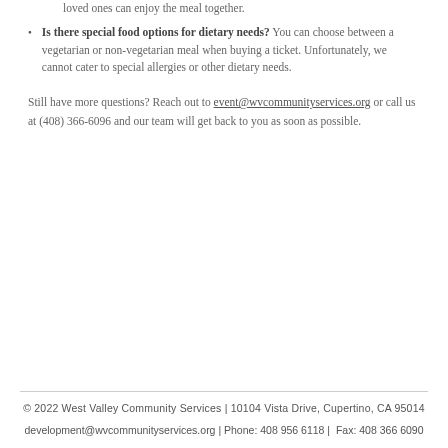loved ones can enjoy the meal together.
Is there special food options for dietary needs? You can choose between a vegetarian or non-vegetarian meal when buying a ticket. Unfortunately, we cannot cater to special allergies or other dietary needs.
Still have more questions? Reach out to event@wvcommunityservices.org or call us at (408) 366-6096 and our team will get back to you as soon as possible.
© 2022 West Valley Community Services | 10104 Vista Drive, Cupertino, CA 95014
development@wvcommunityservices.org | Phone: 408 956 6118 |  Fax: 408 366 6090